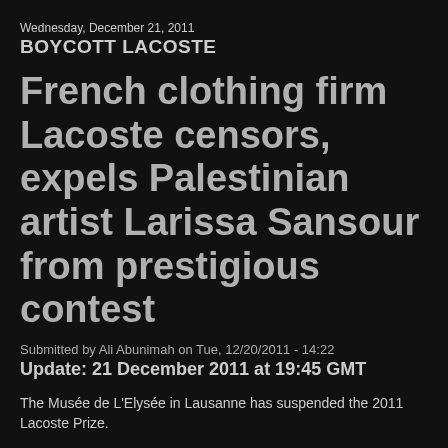Wednesday, December 21, 2011
BOYCOTT LACOSTE
French clothing firm Lacoste censors, expels Palestinian artist Larissa Sansour from prestigious contest
Submitted by Ali Abunimah on Tue, 12/20/2011 - 14:22
Update: 21 December 2011 at 19:45 GMT
The Musée de L'Elysée in Lausanne has suspended the 2011 Lacoste Prize.
Original post